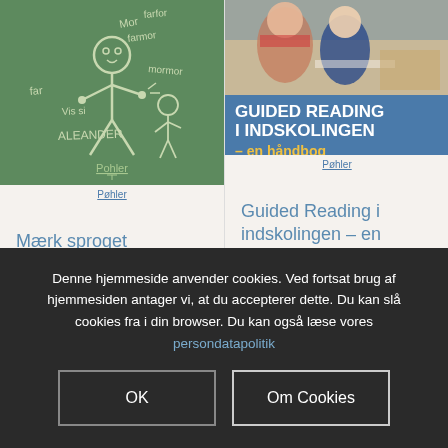[Figure (illustration): Green chalkboard background with chalk drawing of a stick figure child and handwritten words: Mor, farfor, farmor, far, mormor, Vis si, ALEANDER. Publisher logo 'Pohler' at bottom.]
[Figure (illustration): Photo of children reading at a desk, overlaid with blue background and bold text: 'GUIDED READING I INDSKOLINGEN – en håndbog' by Winnie Kortbæk og Lisbeth Broe Thinsen. Publisher logo 'Pohler' at bottom.]
Mærk sproget
Vælg muligheder
Guided Reading i indskolingen – en håndbog
Vælg muligheder
Denne hjemmeside anvender cookies. Ved fortsat brug af hjemmesiden antager vi, at du accepterer dette. Du kan slå cookies fra i din browser. Du kan også læse vores persondatapolitik
OK
Om Cookies